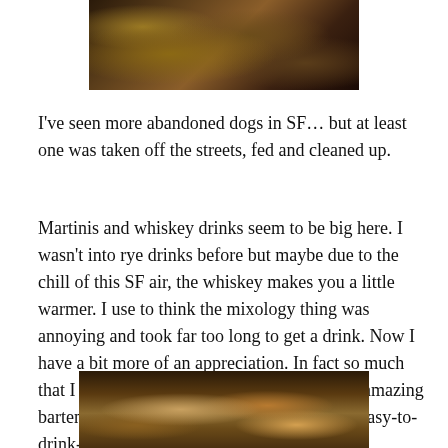[Figure (photo): Photo of floral fabric or decorative textile with dark background and brown/orange leaf patterns]
I've seen more abandoned dogs in SF… but at least one was taken off the streets, fed and cleaned up.
Martinis and whiskey drinks seem to be big here. I wasn't into rye drinks before but maybe due to the chill of this SF air, the whiskey makes you a little warmer. I use to think the mixology thing was annoying and took far too long to get a drink. Now I have a bit more of an appreciation. In fact so much that I had to take a pic and tell you about the amazing bartenders at Park Tavern and their way-too-easy-to-drink-yummy manhattans.
[Figure (photo): Photo of drinks/cocktails on a table at Park Tavern, showing glasses with amber-colored drinks in dim lighting]